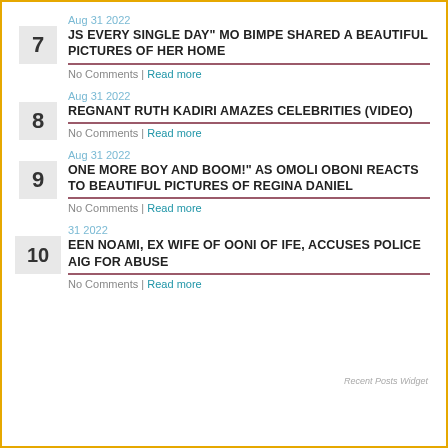7 | Aug 31 2022 | JS EVERY SINGLE DAY" MO BIMPE SHARED A BEAUTIFUL PICTURES OF HER HOME | No Comments | Read more
8 | Aug 31 2022 | REGNANT RUTH KADIRI AMAZES CELEBRITIES (VIDEO) | No Comments | Read more
9 | Aug 31 2022 | ONE MORE BOY AND BOOM!" AS OMOLI OBONI REACTS TO BEAUTIFUL PICTURES OF REGINA DANIEL | No Comments | Read more
10 | 31 2022 | EEN NOAMI, EX WIFE OF OONI OF IFE, ACCUSES POLICE AIG FOR ABUSE | No Comments | Read more
Recent Posts Widget